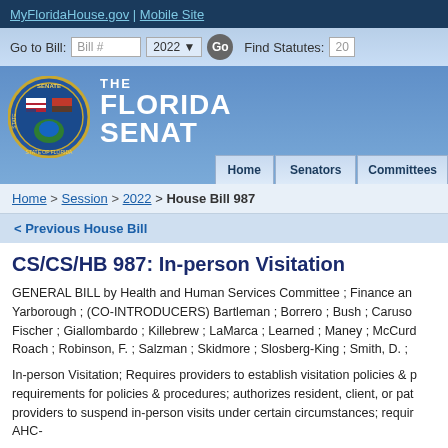MyFloridaHouse.gov | Mobile Site
[Figure (screenshot): Florida Senate website navigation bar with Bill # input, 2022 dropdown, Go button, and Find Statutes section]
[Figure (logo): The Florida Senate logo with State of Florida seal and navigation tabs: Home, Senators, Committees]
Home > Session > 2022 > House Bill 987
< Previous House Bill
CS/CS/HB 987: In-person Visitation
GENERAL BILL by Health and Human Services Committee ; Finance an Yarborough ; (CO-INTRODUCERS) Bartleman ; Borrero ; Bush ; Caruso Fischer ; Giallombardo ; Killebrew ; LaMarca ; Learned ; Maney ; McCurd Roach ; Robinson, F. ; Salzman ; Skidmore ; Slosberg-King ; Smith, D. ;
In-person Visitation; Requires providers to establish visitation policies & p requirements for policies & procedures; authorizes resident, client, or pat providers to suspend in-person visits under certain circumstances; requir AHC-